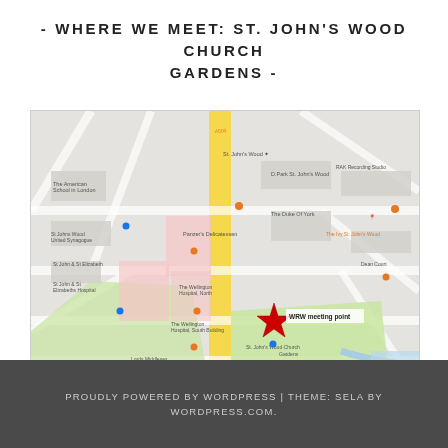- WHERE WE MEET: ST. JOHN'S WOOD CHURCH GARDENS -
[Figure (map): Google Maps screenshot showing St. John's Wood Church Gardens area in London, with a red star marker labeled 'WRW meeting point' placed at St. John's Wood Church Gardens. The map shows surrounding streets, landmarks including The Wellington Hospital, Lords Cricket Ground, and Regent's Park.]
PROUDLY POWERED BY WORDPRESS | THEME: SELA BY WORDPRESS.COM.